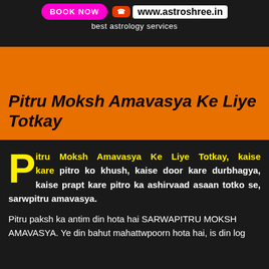BOOK NOW  www.astroshree.in  best astrology services
Pitru Moksh Amavasya Ke Liye Totkay
Pitru Moksh Amavasya Ke Liye Totkay, kaise kare pitro ko khush, kaise door kare durbhagya, kaise prapt kare pitro ka ashirvaad asaan totko se, sarwpitru amavasya.
Pitru paksh ka antim din hota hai SARWAPITRU MOKSH AMAVASYA. Ye din bahut mahattwpoorn hota hai, is din log